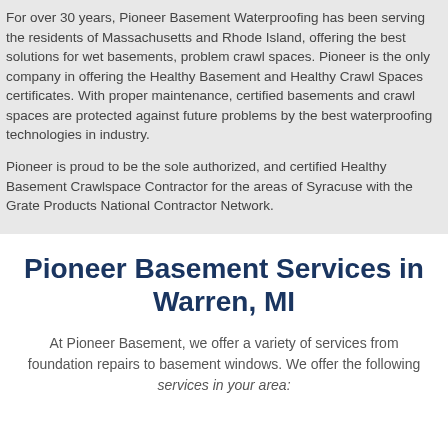For over 30 years, Pioneer Basement Waterproofing has been serving the residents of Massachusetts and Rhode Island, offering the best solutions for wet basements, problem crawl spaces. Pioneer is the only company in offering the Healthy Basement and Healthy Crawl Spaces certificates. With proper maintenance, certified basements and crawl spaces are protected against future problems by the best waterproofing technologies in industry.
Pioneer is proud to be the sole authorized, and certified Healthy Basement Crawlspace Contractor for the areas of Syracuse with the Grate Products National Contractor Network.
Pioneer Basement Services in Warren, MI
At Pioneer Basement, we offer a variety of services from foundation repairs to basement windows. We offer the following services in your area: